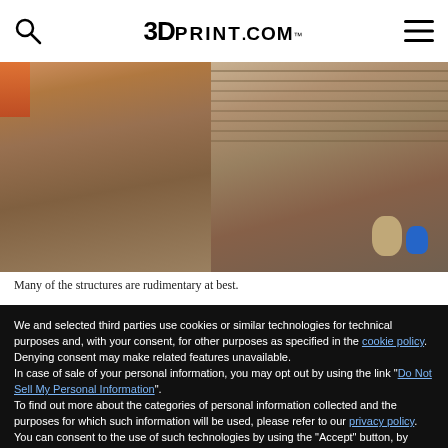3DPRINT.COM
[Figure (photo): Two-panel photo showing rudimentary structures with wood chip flooring, a blue bag and tan sack against corrugated wall on the right side.]
Many of the structures are rudimentary at best.
We and selected third parties use cookies or similar technologies for technical purposes and, with your consent, for other purposes as specified in the cookie policy. Denying consent may make related features unavailable.
In case of sale of your personal information, you may opt out by using the link "Do Not Sell My Personal Information".
To find out more about the categories of personal information collected and the purposes for which such information will be used, please refer to our privacy policy. You can consent to the use of such technologies by using the "Accept" button, by scrolling this page, by interacting with any link or button outside of this notice or by continuing to browse otherwise.